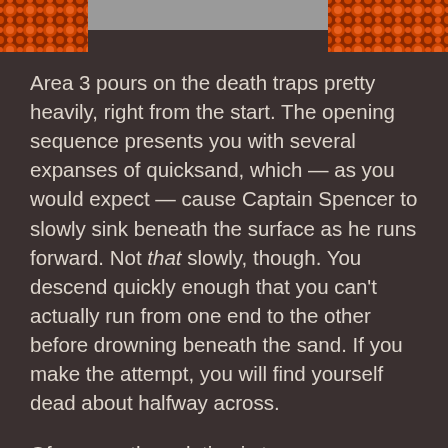[Figure (illustration): Page header with decorative orange/brown floral pattern tiles on left and right sides, and a gray bar in the center]
Area 3 pours on the death traps pretty heavily, right from the start. The opening sequence presents you with several expanses of quicksand, which — as you would expect — cause Captain Spencer to slowly sink beneath the surface as he runs forward. Not that slowly, though. You descend quickly enough that you can't actually run from one end to the other before drowning beneath the sand. If you make the attempt, you will find yourself dead about halfway across.
Of course, the solution is to use your grappling wire to minimize your time on the unstable ground. Not only does it allow you to pull yourself free